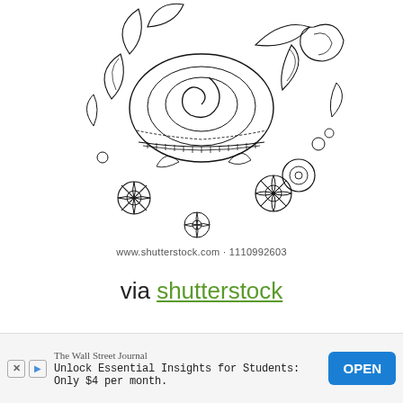[Figure (illustration): Black and white intricate floral and mandala doodle illustration, featuring flowers, leaves, swirls, and decorative patterns, shown partially cropped at the top of the page.]
www.shutterstock.com · 1110992603
via shutterstock
The Wall Street Journal
Unlock Essential Insights for Students: Only $4 per month.
OPEN